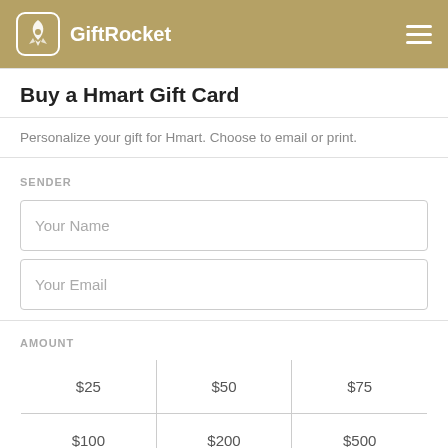GiftRocket
Buy a Hmart Gift Card
Personalize your gift for Hmart. Choose to email or print.
SENDER
Your Name
Your Email
AMOUNT
|  |  |  |
| --- | --- | --- |
| $25 | $50 | $75 |
| $100 | $200 | $500 |